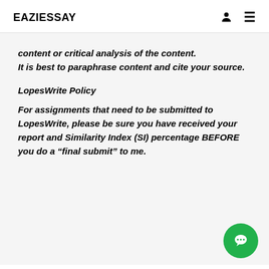EAZIESSAY
content or critical analysis of the content.
It is best to paraphrase content and cite your source.
LopesWrite Policy
For assignments that need to be submitted to LopesWrite, please be sure you have received your report and Similarity Index (SI) percentage BEFORE you do a “final submit” to me.